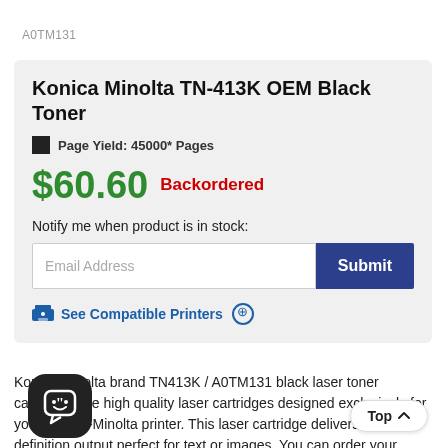A0TM131
Konica Minolta TN-413K OEM Black Toner
Page Yield: 45000* Pages
$60.60 Backordered
Notify me when product is in stock:
Email Address
Submit
See Compatible Printers ⊕
Konica Minolta brand TN413K / A0TM131 black laser toner cartridges are high quality laser cartridges designed exclusively for your Konica-Minolta printer. This laser cartridge delivers crisp definition output perfect for text or images. You can order your